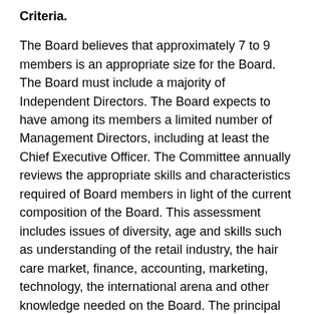Criteria.
The Board believes that approximately 7 to 9 members is an appropriate size for the Board. The Board must include a majority of Independent Directors. The Board expects to have among its members a limited number of Management Directors, including at least the Chief Executive Officer. The Committee annually reviews the appropriate skills and characteristics required of Board members in light of the current composition of the Board. This assessment includes issues of diversity, age and skills such as understanding of the retail industry, the hair care market, finance, accounting, marketing, technology, the international arena and other knowledge needed on the Board. The principal qualification of a Director is the ability to act effectively on behalf of all of the stockholders.